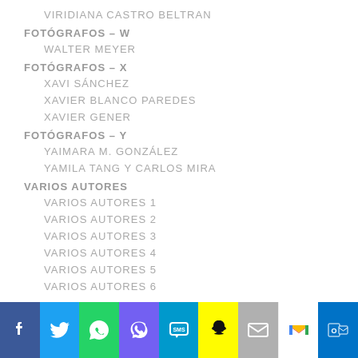VIRIDIANA CASTRO BELTRAN
FOTÓGRAFOS – W
WALTER MEYER
FOTÓGRAFOS – X
XAVI SÁNCHEZ
XAVIER BLANCO PAREDES
XAVIER GENER
FOTÓGRAFOS – Y
YAIMARA M. GONZÁLEZ
YAMILA TANG Y CARLOS MIRA
VARIOS AUTORES
VARIOS AUTORES 1
VARIOS AUTORES 2
VARIOS AUTORES 3
VARIOS AUTORES 4
VARIOS AUTORES 5
VARIOS AUTORES 6
[Figure (infographic): Social media sharing buttons bar: Facebook, Twitter, WhatsApp, Viber, SMS, Snapchat, Mail, Gmail, Outlook]